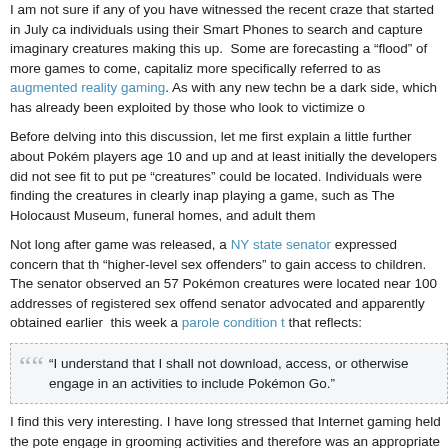I am not sure if any of you have witnessed the recent craze that started in July ca individuals using their Smart Phones to search and capture imaginary creatures making this up.  Some are forecasting a "flood" of more games to come, capitaliz more specifically referred to as augmented reality gaming. As with any new techn be a dark side, which has already been exploited by those who look to victimize ot
Before delving into this discussion, let me first explain a little further about Pokém players age 10 and up and at least initially the developers did not see fit to put pe "creatures" could be located. Individuals were finding the creatures in clearly inap playing a game, such as The Holocaust Museum, funeral homes, and adult them
Not long after game was released, a NY state senator expressed concern that th "higher-level sex offenders" to gain access to children.  The senator observed an 57 Pokémon creatures were located near 100 addresses of registered sex offend senator advocated and apparently obtained earlier  this week a parole condition t that reflects:
"I understand that I shall not download, access, or otherwise engage in an activities to include Pokémon Go."
I find this very interesting. I have long stressed that Internet gaming held the pote engage in grooming activities and therefore was an appropriate supervision proh does not educate or help someone get employment.  However, I tended to focus would most likely be playing. Children are the ones who are the grooming targets prohibition reflects "any Internet-enabled gaming." That clearly applies to Pokéme online Chess and games less likely to be played by children? A more specific exa Association of Retired Persons, which has games for the over 50 crowd to play.